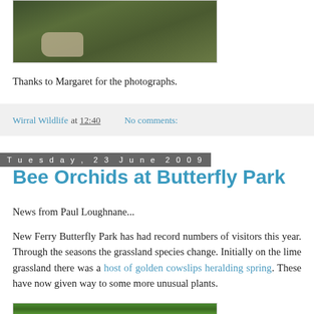[Figure (photo): Partial photograph showing grass and an animal or object in a field, partially cropped at the top of the page]
Thanks to Margaret for the photographs.
Wirral Wildlife at 12:40   No comments:
Tuesday, 23 June 2009
Bee Orchids at Butterfly Park
News from Paul Loughnane...
New Ferry Butterfly Park has had record numbers of visitors this year. Through the seasons the grassland species change. Initially on the lime grassland there was a host of golden cowslips heralding spring. These have now given way to some more unusual plants.
[Figure (photo): Partial photograph at the bottom showing green vegetation/grass, cropped]